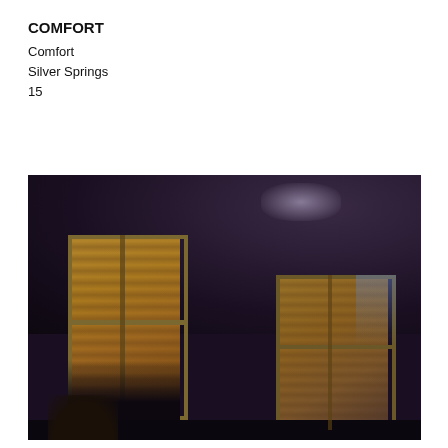COMFORT
Comfort
Silver Springs
15
[Figure (photo): Interior night photograph showing two windows with warm golden light glowing through sheer curtains, set against a very dark purple-black wall. The left window is taller and fully lit with amber/golden tones and plant shadows visible at the bottom. The right window shows similar warm light with a slight blue accent on one side. The room is extremely dark creating a moody nocturnal atmosphere.]